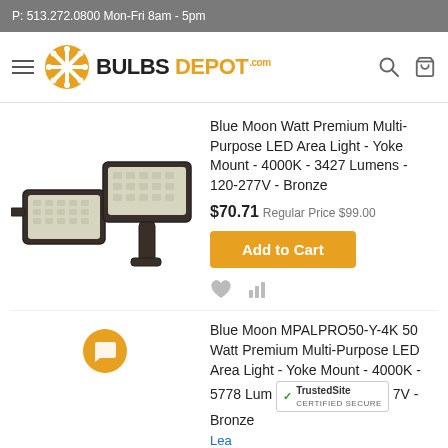P: 513.272.0800 Mon-Fri 8am - 5pm
[Figure (logo): Bulbs Depot logo with hamburger menu, orange snowflake icon, BULBS DEPOT.com text, search and cart icons]
[Figure (photo): Two bronze LED area light fixtures shown from different angles]
Blue Moon Watt Premium Multi-Purpose LED Area Light - Yoke Mount - 4000K - 3427 Lumens - 120-277V - Bronze
$70.71 Regular Price $99.00
Add to Cart
[Figure (illustration): Chat bubble icon (orange circle with speech bubble)]
Blue Moon MPALPRO50-Y-4K 50 Watt Premium Multi-Purpose LED Area Light - Yoke Mount - 4000K - 5778 Lumens - 120-277V - Bronze
Learn More
[Figure (logo): TrustedSite Certified Secure badge]